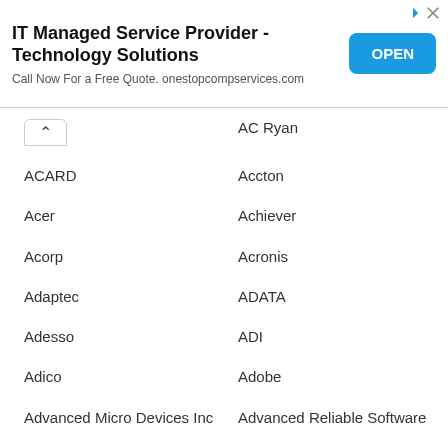[Figure (other): Advertisement banner for IT Managed Service Provider - Technology Solutions with an OPEN button]
AC Ryan
ACARD
Accton
Acer
Achiever
Acorp
Acronis
Adaptec
ADATA
Adesso
ADI
Adico
Adobe
Advanced Micro Devices Inc
Advanced Reliable Software
Agere
AGG Software